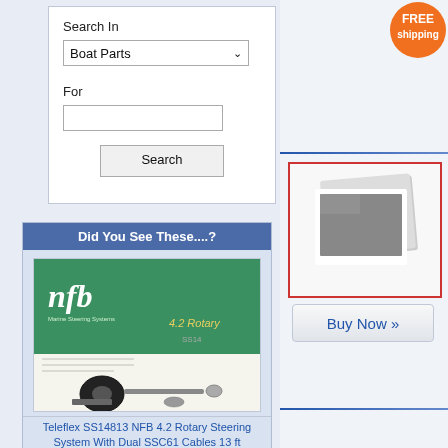Search In
Boat Parts
For
Search
Did You See These....?
[Figure (photo): NFB 4.2 Rotary steering system product box with cables and hardware]
Teleflex SS14813 NFB 4.2 Rotary Steering System With Dual SSC61 Cables 13 ft
$653.67
[Figure (illustration): FREE shipping orange circular badge]
[Figure (photo): Placeholder product image with red border]
Buy Now »